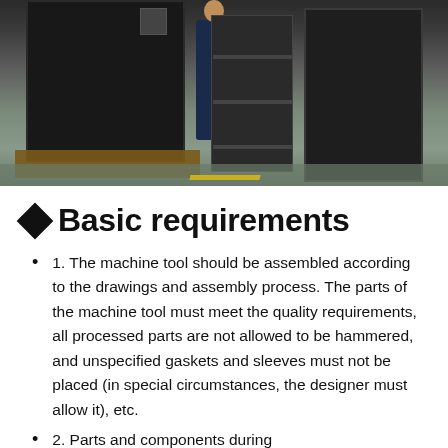[Figure (photo): Factory/warehouse scene with a person standing next to large black industrial machine tools on wooden pallets, with metal shelving in the background on a concrete floor.]
◆Basic requirements
1. The machine tool should be assembled according to the drawings and assembly process. The parts of the machine tool must meet the quality requirements, all processed parts are not allowed to be hammered, and unspecified gaskets and sleeves must not be placed (in special circumstances, the designer must allow it), etc.
2. Parts and components during